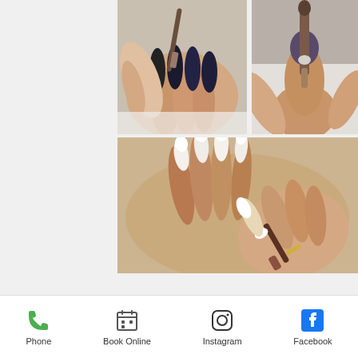[Figure (photo): Top-left photo: close-up of hands applying nail extensions with a brush tool on dark-painted nails]
[Figure (photo): Top-right photo: close-up of a nail brush applying product to a nail extension on a finger]
[Figure (photo): Bottom large photo: close-up of two hands with long white French-tip stiletto nails being worked on with a nail brush]
Phone
Book Online
Instagram
Facebook